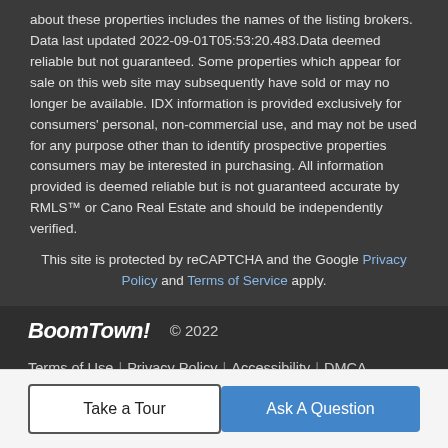about these properties includes the names of the listing brokers. Data last updated 2022-09-01T05:53:20.483.Data deemed reliable but not guaranteed. Some properties which appear for sale on this web site may subsequently have sold or may no longer be available. IDX information is provided exclusively for consumers' personal, non-commercial use, and may not be used for any purpose other than to identify prospective properties consumers may be interested in purchasing. All information provided is deemed reliable but is not guaranteed accurate by RMLS™ or Cano Real Estate and should be independently verified.
This site is protected by reCAPTCHA and the Google Privacy Policy and Terms of Service apply.
BoomTown! © 2022 Terms of Use | Privacy Policy | Accessibility | DMCA | Listings Sitemap
Take a Tour | Ask A Question